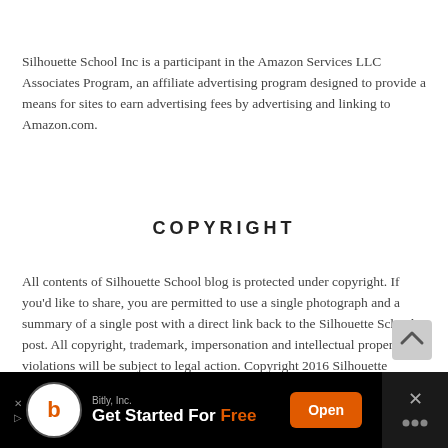Silhouette School Inc is a participant in the Amazon Services LLC Associates Program, an affiliate advertising program designed to provide a means for sites to earn advertising fees by advertising and linking to Amazon.com.
COPYRIGHT
All contents of Silhouette School blog is protected under copyright. If you'd like to share, you are permitted to use a single photograph and a summary of a single post with a direct link back to the Silhouette School post. All copyright, trademark, impersonation and intellectual property violations will be subject to legal action. Copyright 2016 Silhouette School, Inc
[Figure (other): Advertisement banner for Bitly Inc — Get Started For Free with orange Open button and close X icon]